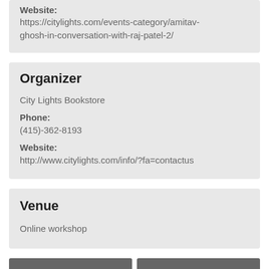Website: https://citylights.com/events-category/amitav-ghosh-in-conversation-with-raj-patel-2/
Organizer
City Lights Bookstore
Phone: (415)-362-8193
Website: http://www.citylights.com/info/?fa=contactus
Venue
Online workshop
[Figure (photo): Two image placeholders side by side (gray rectangles)]